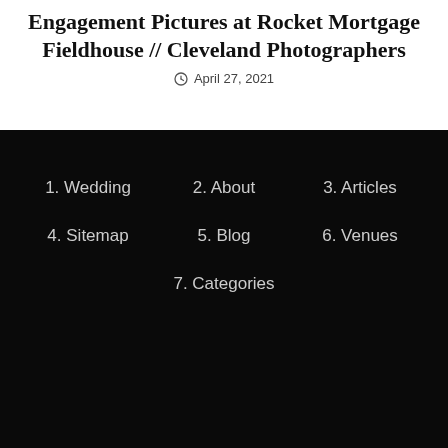Engagement Pictures at Rocket Mortgage Fieldhouse // Cleveland Photographers
April 27, 2021
1. Wedding
2. About
3. Articles
4. Sitemap
5. Blog
6. Venues
7. Categories